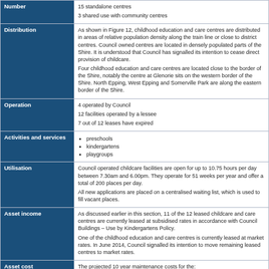| Category | Details |
| --- | --- |
| Number | 15 standalone centres
3 shared use with community centres |
| Distribution | As shown in Figure 12, childhood education and care centres are distributed in areas of relative population density along the train line or close to district centres. Council owned centres are located in densely populated parts of the Shire. It is understood that Council has signalled its intention to cease direct provision of childcare.
Four childhood education and care centres are located close to the border of the Shire, notably the centre at Glenorie sits on the western border of the Shire. North Epping, West Epping and Somerville Park are along the eastern border of the Shire. |
| Operation | 4 operated by Council
12 facilities operated by a lessee
7 out of 12 leases have expired |
| Activities and services | preschools
kindergartens
playgroups |
| Utilisation | Council operated childcare facilities are open for up to 10.75 hours per day between 7.30am and 6.00pm. They operate for 51 weeks per year and offer a total of 200 places per day.
All new applications are placed on a centralised waiting list, which is used to fill vacant places. |
| Asset income | As discussed earlier in this section, 11 of the 12 leased childcare and care centres are currently leased at subsidised rates in accordance with Council Buildings – Use by Kindergartens Policy.
One of the childhood education and care centres is currently leased at market rates. In June 2014, Council signalled its intention to move remaining leased centres to market rates. |
| Asset cost | The projected 10 year maintenance costs for the:
four Council operated preschools is $2,225,468
12 leased preschools is $4,889,119. |